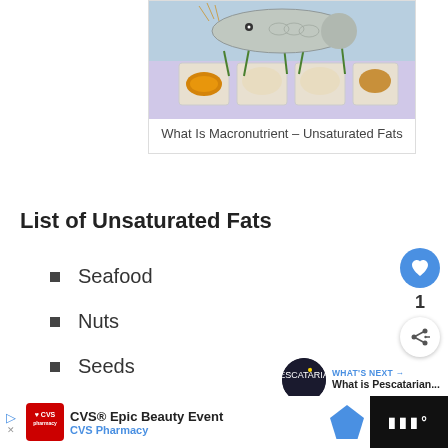[Figure (photo): Photo of seafood display with fish and various dishes in trays]
What Is Macronutrient – Unsaturated Fats
List of Unsaturated Fats
Seafood
Nuts
Seeds
Avocados
[Figure (photo): Pescatarian thumbnail image with dark background and star]
WHAT'S NEXT → What is Pescatarian...
[Figure (other): Advertisement bar: CVS Epic Beauty Event, CVS Pharmacy]